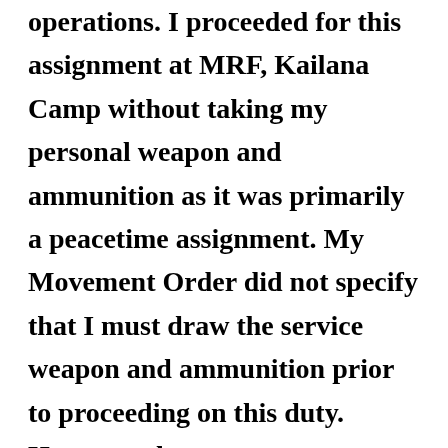operations. I proceeded for this assignment at MRF, Kailana Camp without taking my personal weapon and ammunition as it was primarily a peacetime assignment. My Movement Order did not specify that I must draw the service weapon and ammunition prior to proceeding on this duty. However, the men were personally briefed to prepare for a wartime duty and I was in the Hospital and did not listen to the motivational speech given by Gyalo Thondup, the brother of His Holiness the